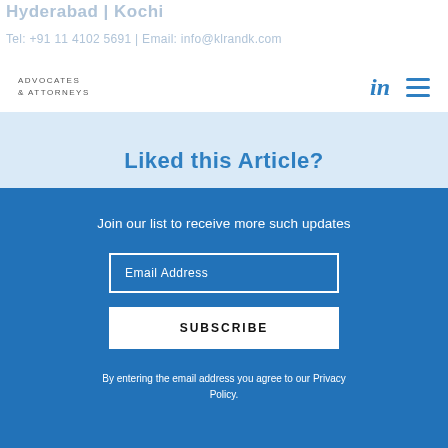Hyderabad | Kochi
Tel: +91 11 4102 5691 | Email: info@klrandk.com
ADVOCATES & ATTORNEYS
Liked this Article?
Join our list to receive more such updates
Email Address
SUBSCRIBE
By entering the email address you agree to our Privacy Policy.